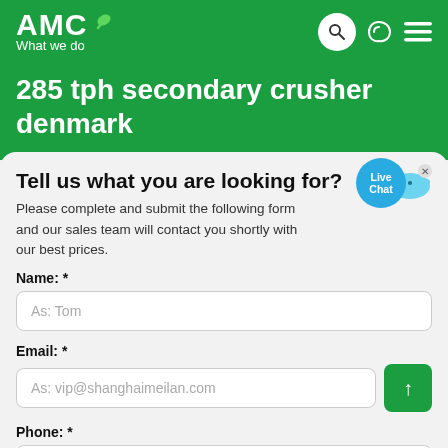AMC — What we do
285 tph secondary crusher denmark
Tell us what you are looking for?
Please complete and submit the following form and our sales team will contact you shortly with our best prices.
Name: *
As: Tom
Email: *
As: vip@shanghaimeilan.com
Phone: *
With Country Code